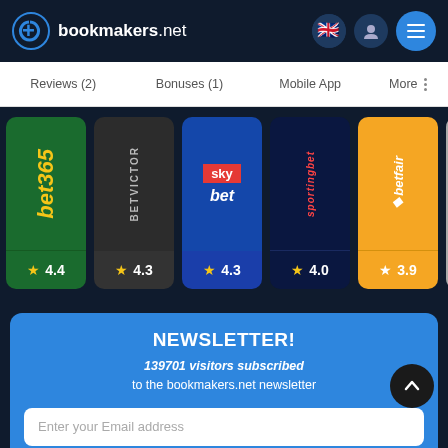bookmakers.net
Reviews (2)
Bonuses (1)
Mobile App
More
[Figure (screenshot): Horizontal scrollable list of bookmaker cards: bet365 (4.4), BetVictor (4.3), Sky Bet (4.3), Sportingbet (4.0), Betfair (3.9)]
NEWSLETTER!
139701 visitors subscribed to the bookmakers.net newsletter
Enter your Email address